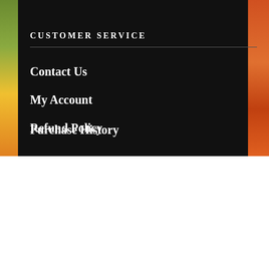CUSTOMER SERVICE
Contact Us
My Account
Refund Policy
Purchase History
We use cookies on our website to give you the most relevant experience by remembering your preferences and repeat visits. By clicking “Accept”, you consent to the use of ALL the cookies.
Cookie settings
ACCEPT